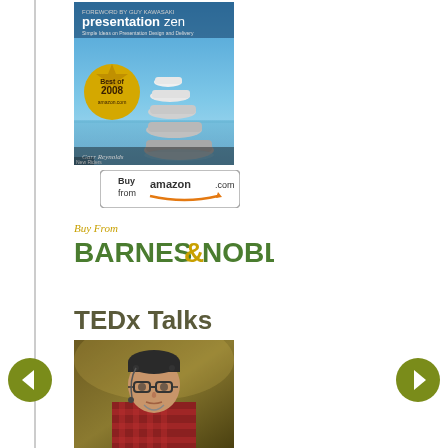[Figure (photo): Book cover of 'Presentation Zen' by Garr Reynolds — blue sky with stacked rocks, gold 'Best of 2008 amazon.com' badge]
[Figure (logo): Buy from amazon.com button with orange arrow logo]
[Figure (logo): Buy From BARNES & NOBLE logo in green with gold ampersand]
TEDx Talks
[Figure (photo): Speaker at a TEDx event, man with glasses and checkered shirt, looking upward with a microphone headset]
[Figure (other): Left navigation arrow button (olive green circle with white left arrow)]
[Figure (other): Right navigation arrow button (olive green circle with white right arrow)]